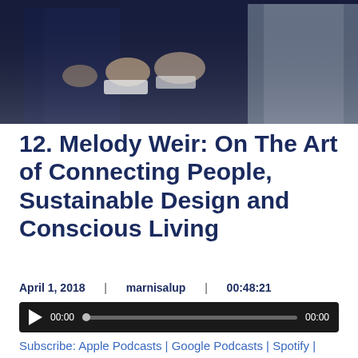[Figure (photo): Photo of people in dark suits placing hands over their chests, partially cropped]
12. Melody Weir: On The Art of Connecting People, Sustainable Design and Conscious Living
April 1, 2018 | marnisalup | 00:48:21
[Figure (screenshot): Audio player widget showing 00:00 / 00:00 with play button and progress bar]
Subscribe: Apple Podcasts | Google Podcasts | Spotify | Android | Stitcher | RSS | More